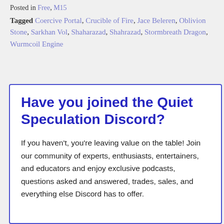Posted in Free, M15
Tagged Coercive Portal, Crucible of Fire, Jace Beleren, Oblivion Stone, Sarkhan Vol, Shaharazad, Shahrazad, Stormbreath Dragon, Wurmcoil Engine
Have you joined the Quiet Speculation Discord?
If you haven't, you're leaving value on the table! Join our community of experts, enthusiasts, entertainers, and educators and enjoy exclusive podcasts, questions asked and answered, trades, sales, and everything else Discord has to offer.